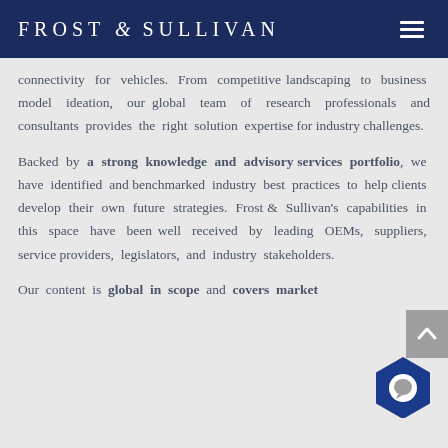FROST & SULLIVAN
connectivity for vehicles. From competitive landscaping to business model ideation, our global team of research professionals and consultants provides the right solution expertise for industry challenges.

Backed by a strong knowledge and advisory services portfolio, we have identified and benchmarked industry best practices to help clients develop their own future strategies. Frost & Sullivan's capabilities in this space have been well received by leading OEMs, suppliers, service providers, legislators, and industry stakeholders.

Our content is global in scope and covers market